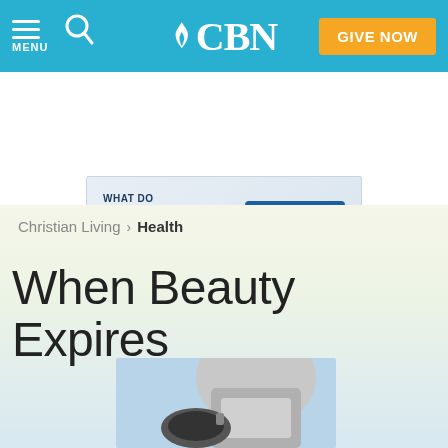CBN — MENU | Search | GIVE NOW
[Figure (screenshot): CBN website navigation bar with hamburger menu, search icon, CBN flame logo, and orange GIVE NOW button on teal background]
[Figure (infographic): Advertisement banner: WHAT DO CHRISTIANS? BELIEVE. with WATCH NOW button]
Christian Living › Health
When Beauty Expires
[Figure (photo): Partial photo of beauty/cosmetics related product, light blue background]